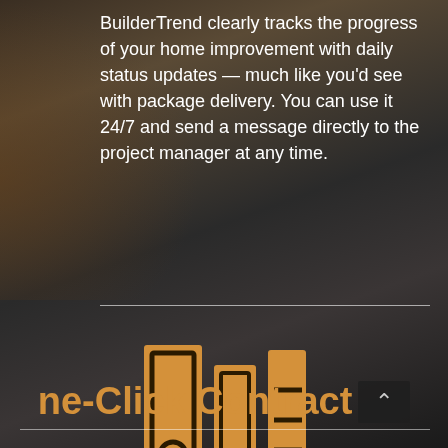BuilderTrend clearly tracks the progress of your home improvement with daily status updates — much like you'd see with package delivery. You can use it 24/7 and send a message directly to the project manager at any time.
[Figure (logo): BuilderTrend logo icon: stylized binder/books icon in orange/gold color with dark outlines, resembling vertical binders with tabs]
ne-Click Contract